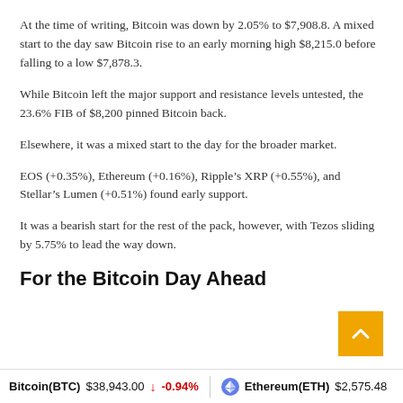At the time of writing, Bitcoin was down by 2.05% to $7,908.8. A mixed start to the day saw Bitcoin rise to an early morning high $8,215.0 before falling to a low $7,878.3.
While Bitcoin left the major support and resistance levels untested, the 23.6% FIB of $8,200 pinned Bitcoin back.
Elsewhere, it was a mixed start to the day for the broader market.
EOS (+0.35%), Ethereum (+0.16%), Ripple’s XRP (+0.55%), and Stellar’s Lumen (+0.51%) found early support.
It was a bearish start for the rest of the pack, however, with Tezos sliding by 5.75% to lead the way down.
For the Bitcoin Day Ahead
Bitcoin(BTC) $38,943.00 ↓ -0.94%   Ethereum(ETH) $2,575.48